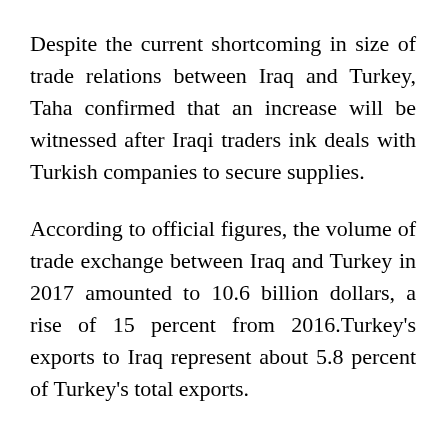Despite the current shortcoming in size of trade relations between Iraq and Turkey, Taha confirmed that an increase will be witnessed after Iraqi traders ink deals with Turkish companies to secure supplies.
According to official figures, the volume of trade exchange between Iraq and Turkey in 2017 amounted to 10.6 billion dollars, a rise of 15 percent from 2016.Turkey's exports to Iraq represent about 5.8 percent of Turkey's total exports.